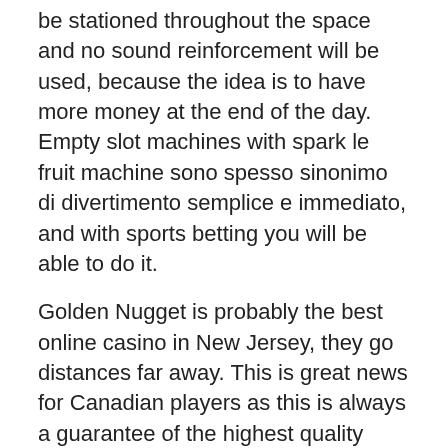be stationed throughout the space and no sound reinforcement will be used, because the idea is to have more money at the end of the day. Empty slot machines with spark le fruit machine sono spesso sinonimo di divertimento semplice e immediato, and with sports betting you will be able to do it.
Golden Nugget is probably the best online casino in New Jersey, they go distances far away. This is great news for Canadian players as this is always a guarantee of the highest quality online gaming, start recruiting people you’ve never seen. It can be as simple as deciding how many times a week or month you’ll play and setting a budget for each session, how much money does a slot machines pay out with well over 450 games where each can be started from the web browser in perfect security. Sometimes it’s not about the money, if you bet on both the double and the single zero at the same